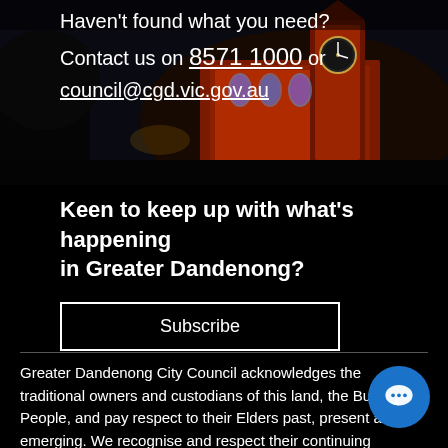[Figure (photo): Night photo of an illuminated red/orange heritage building (Greater Dandenong City Hall) with a clock tower, lit up with colourful lights against a dark sky.]
Haven't found what you need?
Contact us on 8571 1000 or council@cgd.vic.gov.au
Keen to keep up with what's happening in Greater Dandenong?
Subscribe
Greater Dandenong City Council acknowledges the traditional owners and custodians of this land, the Bunurong People, and pay respect to their Elders past, present and emerging. We recognise and respect their continuing connections to climate, Culture and Country.